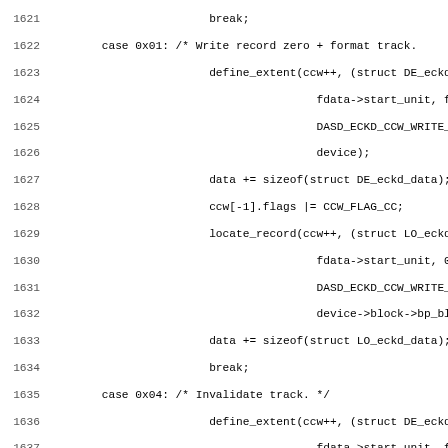Source code listing lines 1621-1652, C kernel code for DASD ECKD device driver formatting routines